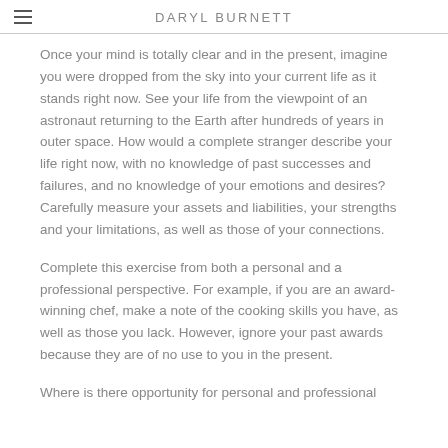DARYL BURNETT
Once your mind is totally clear and in the present, imagine you were dropped from the sky into your current life as it stands right now. See your life from the viewpoint of an astronaut returning to the Earth after hundreds of years in outer space. How would a complete stranger describe your life right now, with no knowledge of past successes and failures, and no knowledge of your emotions and desires? Carefully measure your assets and liabilities, your strengths and your limitations, as well as those of your connections.
Complete this exercise from both a personal and a professional perspective. For example, if you are an award-winning chef, make a note of the cooking skills you have, as well as those you lack. However, ignore your past awards because they are of no use to you in the present.
Where is there opportunity for personal and professional